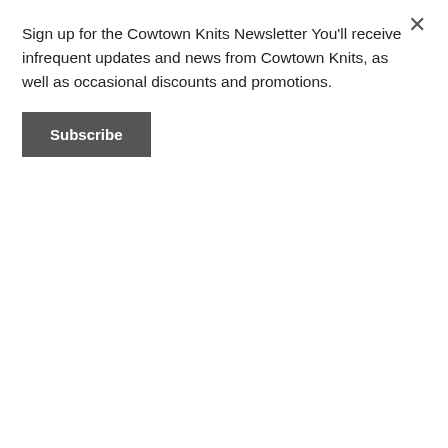Sign up for the Cowtown Knits Newsletter You'll receive infrequent updates and news from Cowtown Knits, as well as occasional discounts and promotions.
Subscribe
[Figure (photo): Close-up photo of a hand holding a blue and light blue knitted sock with a decorative cable/wave pattern on the foot.]
buy now
You can purchase the pattern by clicking the “buy now” button above. Until November 15 you can receive a 25% discount when